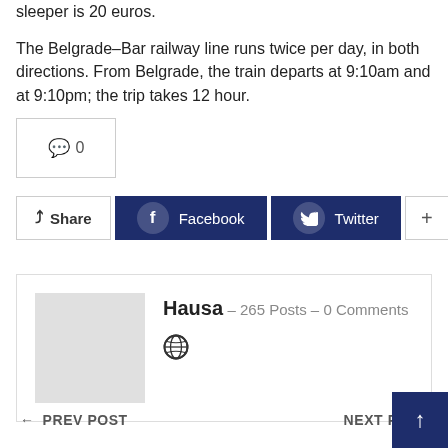sleeper is 20 euros.

The Belgrade–Bar railway line runs twice per day, in both directions. From Belgrade, the train departs at 9:10am and at 9:10pm; the trip takes 12 hour.
💬 0
Share  Facebook  Twitter  +
Hausa – 265 Posts – 0 Comments
← PREV POST    NEXT POST ↑